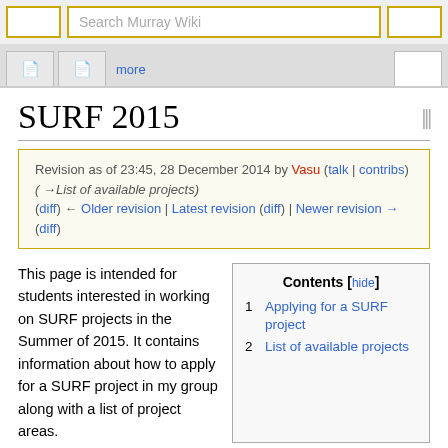Search Murray Wiki [search bar]
Revision as of 23:45, 28 December 2014 by Vasu (talk | contribs) (→List of available projects)
(diff) ← Older revision | Latest revision (diff) | Newer revision → (diff)
SURF 2015
This page is intended for students interested in working on SURF projects in the Summer of 2015. It contains information about how to apply for a SURF project in my group along with a list of project areas.
| Contents [hide] |
| --- |
| 1  Applying for a SURF project |
| 2  List of available projects |
Applying for a SURF project
Because I get many students interested in doing SURFs in my group and because we have several projects available, we use the first few weeks in January to sort out who we will work with in writing proposals. We only submit one proposal per project area and so we often can't accommodate everyone who wants to work in my group over the summer.